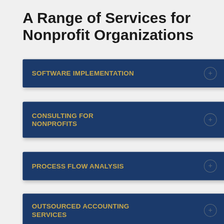A Range of Services for Nonprofit Organizations
SOFTWARE IMPLEMENTATION
CONSULTING FOR NONPROFITS
PROCESS FLOW ANALYSIS
OUTSOURCED ACCOUNTING SERVICES